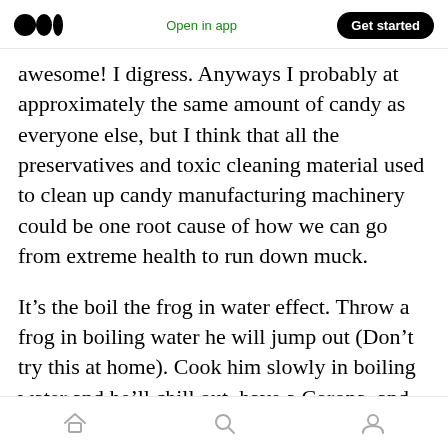Medium logo | Open in app | Get started
awesome! I digress. Anyways I probably at approximately the same amount of candy as everyone else, but I think that all the preservatives and toxic cleaning material used to clean up candy manufacturing machinery could be one root cause of how we can go from extreme health to run down muck.
It’s the boil the frog in water effect. Throw a frog in boiling water he will jump out (Don’t try this at home). Cook him slowly in boiling water and he’ll chill out, have a Corona, and die (This is a happy death).
Navigation icons: home, search, profile